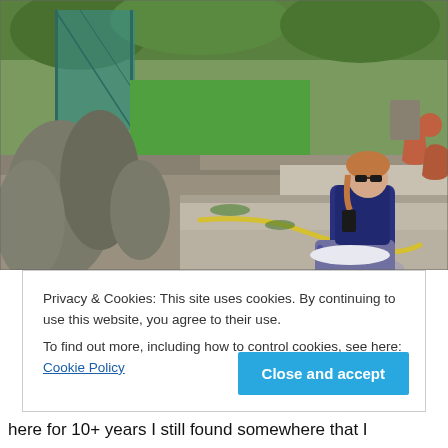[Figure (photo): Outdoor garden scene with a woman wearing sunglasses sitting cross-legged on a stone ledge or raised bed, wearing a dark blue top and floral trousers. Overgrown lavender or herbs in the foreground, green grass and garden beds behind her, yellow garden hose on the stone, terracotta pots and fencing in the background.]
Privacy & Cookies: This site uses cookies. By continuing to use this website, you agree to their use.
To find out more, including how to control cookies, see here: Cookie Policy
Close and accept
here for 10+ years I still found somewhere that I